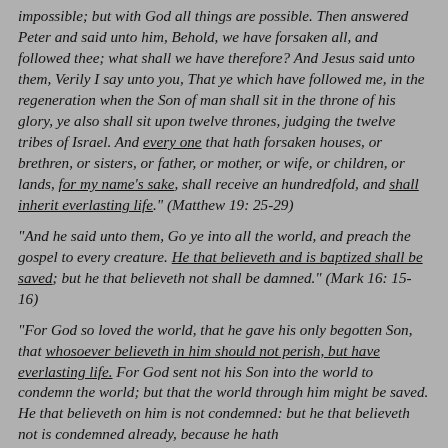impossible; but with God all things are possible. Then answered Peter and said unto him, Behold, we have forsaken all, and followed thee; what shall we have therefore? And Jesus said unto them, Verily I say unto you, That ye which have followed me, in the regeneration when the Son of man shall sit in the throne of his glory, ye also shall sit upon twelve thrones, judging the twelve tribes of Israel. And every one that hath forsaken houses, or brethren, or sisters, or father, or mother, or wife, or children, or lands, for my name's sake, shall receive an hundredfold, and shall inherit everlasting life." (Matthew 19: 25-29)
"And he said unto them, Go ye into all the world, and preach the gospel to every creature. He that believeth and is baptized shall be saved; but he that believeth not shall be damned." (Mark 16: 15-16)
"For God so loved the world, that he gave his only begotten Son, that whosoever believeth in him should not perish, but have everlasting life. For God sent not his Son into the world to condemn the world; but that the world through him might be saved. He that believeth on him is not condemned: but he that believeth not is condemned already, because he hath